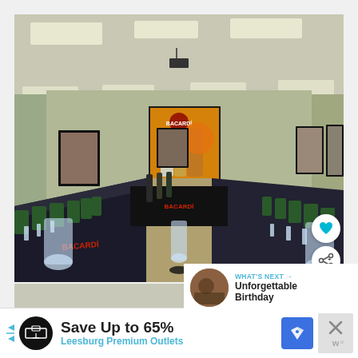[Figure (photo): Interior of a conference/banquet room set up for a Bacardi tasting event. Long tables arranged in a U-shape covered with black Bacardi-branded tablecloths. Green chairs along the sides. A large Bacardi promotional backdrop at the far end showing Bacardi rum bottles. Framed pictures on sage-green walls. Fluorescent ceiling lights. Glass carafes and tasting glasses on tables.]
[Figure (photo): Partial view of a second photo below the main image, showing a gray/beige background, likely another venue or room view.]
WHAT'S NEXT → Unforgettable Birthday
Save Up to 65%
Leesburg Premium Outlets